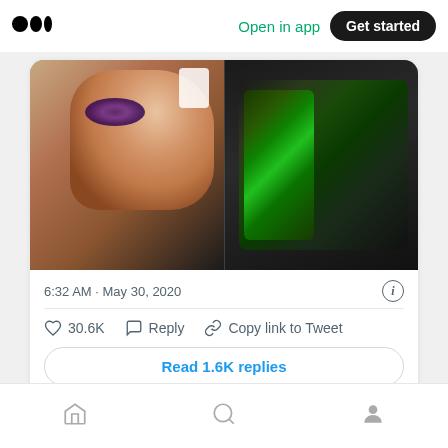Medium logo | Open in app | Get started
[Figure (screenshot): Two side-by-side photos: left shows a person with a bruised, swollen eye and cuts on the face with medical gauze; right shows a dark green/black Oakley backpack on a surface indoors.]
6:32 AM · May 30, 2020
30.6K  Reply  Copy link to Tweet
Read 1.6K replies
Home  Search  Profile